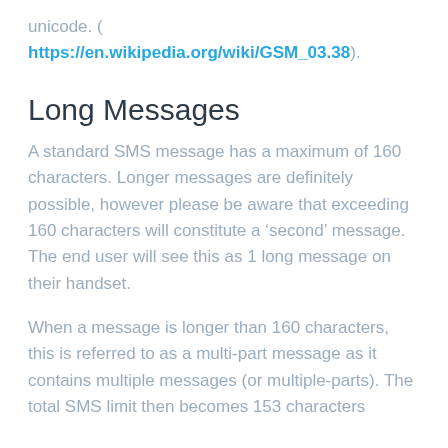unicode. ( https://en.wikipedia.org/wiki/GSM_03.38).
Long Messages
A standard SMS message has a maximum of 160 characters. Longer messages are definitely possible, however please be aware that exceeding 160 characters will constitute a ‘second’ message. The end user will see this as 1 long message on their handset.
When a message is longer than 160 characters, this is referred to as a multi-part message as it contains multiple messages (or multiple-parts). The total SMS limit then becomes 153 characters